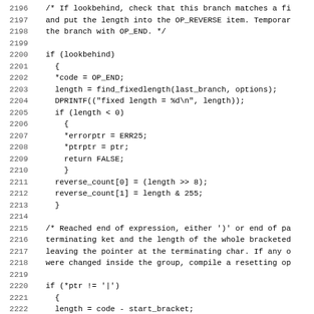[Figure (other): Source code listing in C, lines 2196-2227, showing lookbehind branch length checking and OP_KET compilation logic]